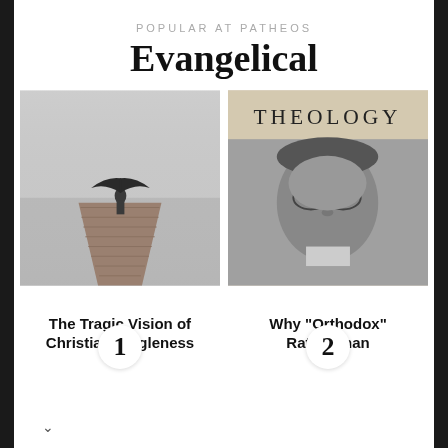POPULAR AT PATHEOS
Evangelical
[Figure (photo): Person standing at end of a wooden dock over water in fog, holding an umbrella, black and white/desaturated tone. Badge with number 1 at bottom center.]
[Figure (photo): Book cover and portrait: word THEOLOGY at top, black and white photo of a man with glasses. Badge with number 2 at bottom center.]
The Tragic Vision of Christian Singleness
Why “Orthodox” Rather than